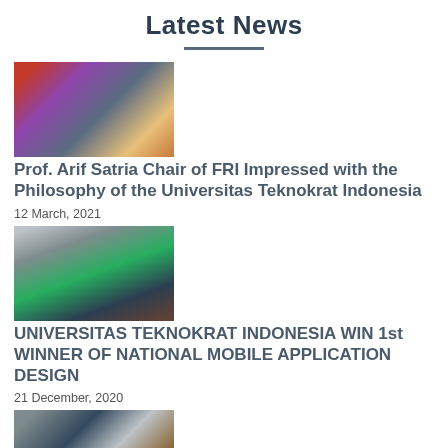Latest News
[Figure (photo): Group photo of people in front of a building, outdoor setting with banners]
Prof. Arif Satria Chair of FRI Impressed with the Philosophy of the Universitas Teknokrat Indonesia
12 March, 2021
[Figure (photo): Students standing in front of a university building with greenery]
UNIVERSITAS TEKNOKRAT INDONESIA WIN 1st WINNER OF NATIONAL MOBILE APPLICATION DESIGN
21 December, 2020
[Figure (photo): Partial view of another news item photo at bottom]